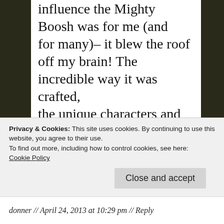influence the Mighty Boosh was for me (and for many)– it blew the roof off my brain! The incredible way it was crafted, the unique characters and the worlds they inhabited were like little nuggets of exotic brain food for me. The programme spoke to me in a very dull time in my life and bought some much needed sparkle into a desperate, grey landscape.
Privacy & Cookies: This site uses cookies. By continuing to use this website, you agree to their use.
To find out more, including how to control cookies, see here:
Cookie Policy
Close and accept
donner // April 24, 2013 at 10:29 pm // Reply